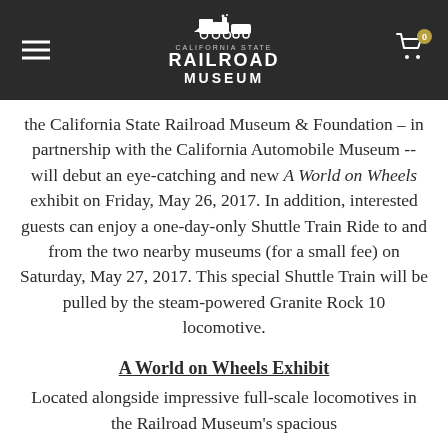California State Railroad Museum header with navigation
the California State Railroad Museum & Foundation – in partnership with the California Automobile Museum -- will debut an eye-catching and new A World on Wheels exhibit on Friday, May 26, 2017. In addition, interested guests can enjoy a one-day-only Shuttle Train Ride to and from the two nearby museums (for a small fee) on Saturday, May 27, 2017. This special Shuttle Train will be pulled by the steam-powered Granite Rock 10 locomotive.
A World on Wheels Exhibit
Located alongside impressive full-scale locomotives in the Railroad Museum's spacious